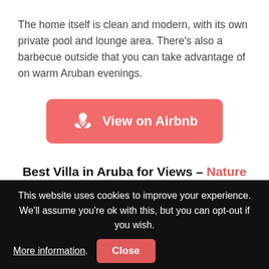The home itself is clean and modern, with its own private pool and lounge area. There's also a barbecue outside that you can take advantage of on warm Aruban evenings.
[Figure (other): Red rounded button with Airbnb logo icon and text 'View on Airbnb']
Best Villa in Aruba for Views – Nature Scape Villa with Pool
This website uses cookies to improve your experience. We'll assume you're ok with this, but you can opt-out if you wish. More information. Close